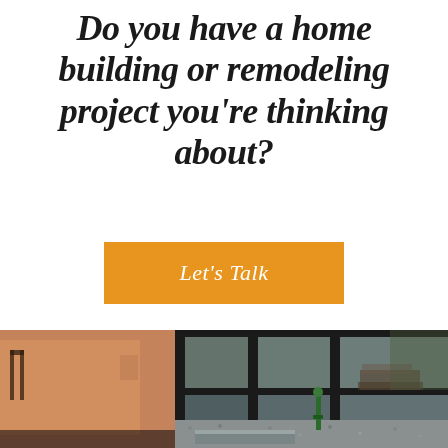Do you have a home building or remodeling project you're thinking about?
Let's Talk
[Figure (photo): Photo of a home under construction or remodeling, showing large sliding glass door frames, a concrete step, gravel ground, and construction materials in the background.]